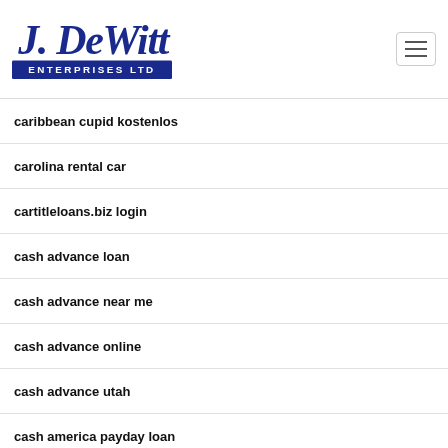[Figure (logo): J. DeWitt Enterprises Ltd logo — blue cursive text 'J. DeWitt' above a dark blue banner reading 'ENTERPRISES LTD']
caribbean cupid kostenlos
carolina rental car
cartitleloans.biz login
cash advance loan
cash advance near me
cash advance online
cash advance utah
cash america payday loan
Cash America Payday Loans Online